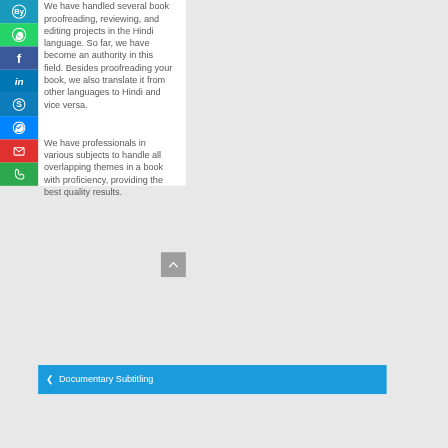We have handled several book proofreading, reviewing, and editing projects in the Hindi language. So far, we have become an authority in this field. Besides proofreading your book, we also translate it from other languages to Hindi and vice versa.
We have professionals in various subjects to handle all overlapping themes in a book with proficiency, providing the best quality results.
< Documentary Subtitling